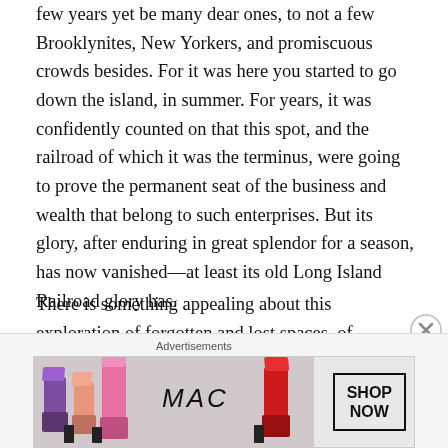few years yet be many dear ones, to not a few Brooklynites, New Yorkers, and promiscuous crowds besides. For it was here you started to go down the island, in summer. For years, it was confidently counted on that this spot, and the railroad of which it was the terminus, were going to prove the permanent seat of the business and wealth that belong to such enterprises. But its glory, after enduring in great splendor for a season, has now vanished—at least its old Long Island Railroad glory has.
There is something appealing about this exploration of forgotten and lost spaces, of mysterious tunnels and faded alternatives. Medusa has a very rich and evocative setting, as Doggett finds himself leading a team into the complex
Advertisements
[Figure (photo): MAC cosmetics advertisement showing lipsticks in purple, pink, and red colors with MAC logo and SHOP NOW button]